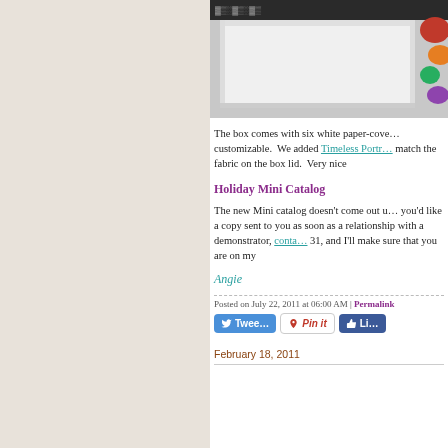[Figure (photo): Photo of a white open box with black floral patterned fabric/paper on the inside top edge, with colorful floral decorations visible at the right.]
The box comes with six white paper-cove... customizable.  We added Timeless Portr... match the fabric on the box lid.  Very nice
Holiday Mini Catalog
The new Mini catalog doesn't come out u... you'd like a copy sent to you as soon as a relationship with a demonstrator, conta... 31, and I'll make sure that you are on my
Angie
Posted on July 22, 2011 at 06:00 AM | Permalink
February 18, 2011